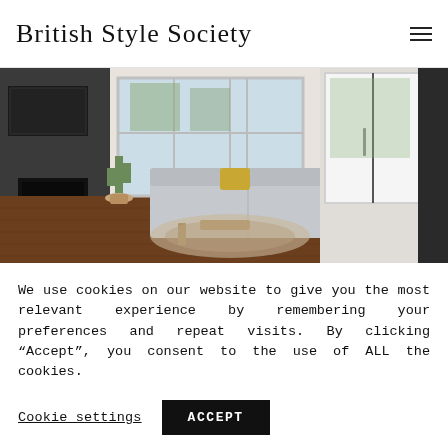British Style Society
[Figure (photo): Interior living room with modern white sofa, yellow pillow, dark hardwood floors, fireplace, large windows, sliding white barn door, and a small cactus plant.]
We use cookies on our website to give you the most relevant experience by remembering your preferences and repeat visits. By clicking “Accept”, you consent to the use of ALL the cookies.
Cookie settings   ACCEPT